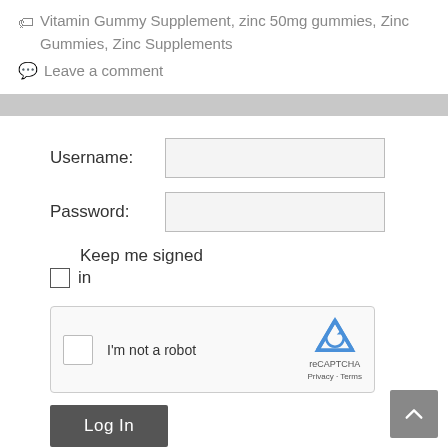Vitamin Gummy Supplement, zinc 50mg gummies, Zinc Gummies, Zinc Supplements
Leave a comment
Username:
Password:
Keep me signed in
I'm not a robot
Log In